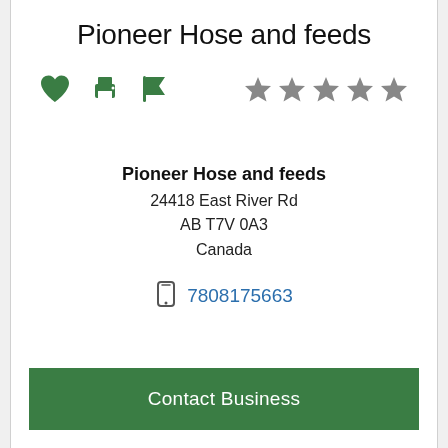Pioneer Hose and feeds
[Figure (infographic): Row of action icons: green heart, green printer, green flag on left; five grey star rating icons on right]
Pioneer Hose and feeds
24418 East River Rd
AB T7V 0A3
Canada
7808175663
Contact Business